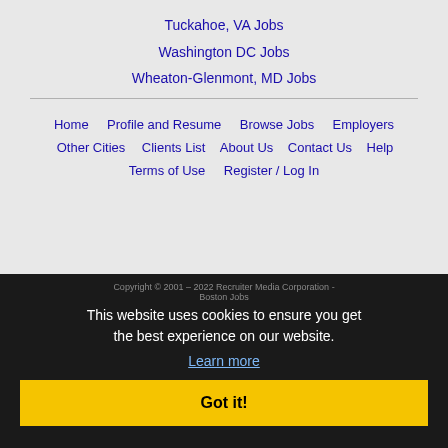Tuckahoe, VA Jobs
Washington DC Jobs
Wheaton-Glenmont, MD Jobs
Home
Profile and Resume
Browse Jobs
Employers
Other Cities
Clients List
About Us
Contact Us
Help
Terms of Use
Register / Log In
Copyright © 2001 – 2022 Recruiter Media Corporation - Boston Jobs
This website uses cookies to ensure you get the best experience on our website.
Learn more
Got it!